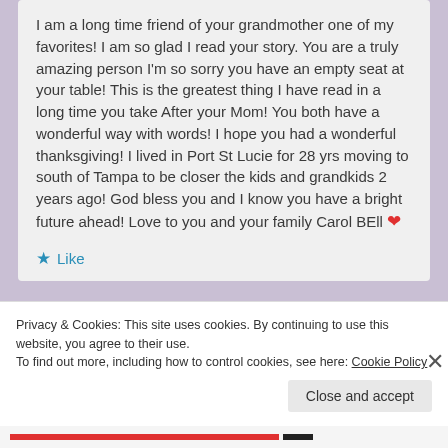I am a long time friend of your grandmother one of my favorites! I am so glad I read your story. You are a truly amazing person I'm so sorry you have an empty seat at your table! This is the greatest thing I have read in a long time you take After your Mom! You both have a wonderful way with words! I hope you had a wonderful thanksgiving! I lived in Port St Lucie for 28 yrs moving to south of Tampa to be closer the kids and grandkids 2 years ago! God bless you and I know you have a bright future ahead! Love to you and your family Carol BEll ❤
★ Like
Privacy & Cookies: This site uses cookies. By continuing to use this website, you agree to their use.
To find out more, including how to control cookies, see here: Cookie Policy
Close and accept